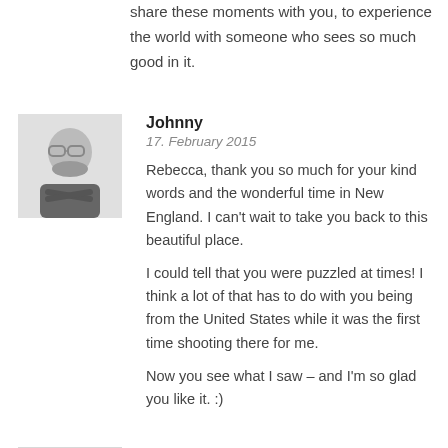share these moments with you, to experience the world with someone who sees so much good in it.
[Figure (photo): Profile photo of Johnny, a man with glasses and beard, arms crossed, wearing a dark t-shirt]
Johnny
17. February 2015
Rebecca, thank you so much for your kind words and the wonderful time in New England. I can't wait to take you back to this beautiful place.
I could tell that you were puzzled at times! I think a lot of that has to do with you being from the United States while it was the first time shooting there for me.
Now you see what I saw – and I'm so glad you like it. :)
[Figure (photo): Generic grey silhouette avatar placeholder for Sebastian Schlueter]
Sebastian Schlueter
17. February 2015
Johnny, this is an amazing collection of beautiful images and even if I am repeating myself the last image is ethereal and simply fantastic.